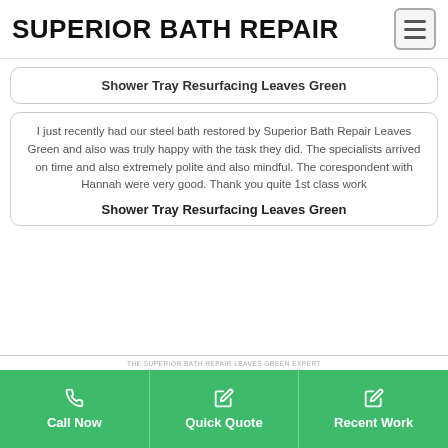SUPERIOR BATH REPAIR
Shower Tray Resurfacing Leaves Green
I just recently had our steel bath restored by Superior Bath Repair Leaves Green and also was truly happy with the task they did. The specialists arrived on time and also extremely polite and also mindful. The corespondent with Hannah were very good. Thank you quite 1st class work
Shower Tray Resurfacing Leaves Green
Call Now | Quick Quote | Recent Work